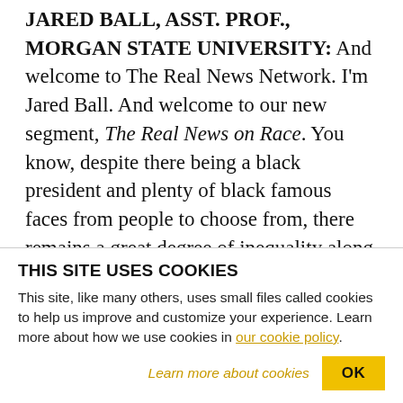JARED BALL, ASST. PROF., MORGAN STATE UNIVERSITY: And welcome to The Real News Network. I'm Jared Ball. And welcome to our new segment, The Real News on Race. You know, despite there being a black president and plenty of black famous faces from people to choose from, there remains a great degree of inequality along the lines of race in this country and around the world. For instance, within the broader economic crisis there remains a persistent gap in income levels between black and white Americans that sees black people
THIS SITE USES COOKIES
This site, like many others, uses small files called cookies to help us improve and customize your experience. Learn more about how we use cookies in our cookie policy.
Learn more about cookies  OK